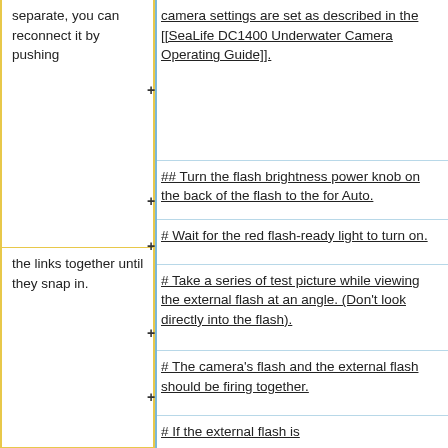separate, you can reconnect it by pushing
the links together until they snap in.
camera settings are set as described in the [[SeaLife DC1400 Underwater Camera Operating Guide]].
## Turn the flash brightness power knob on the back of the flash to the for Auto.
# Wait for the red flash-ready light to turn on.
# Take a series of test picture while viewing the external flash at an angle. (Don't look directly into the flash).
# The camera's flash and the external flash should be firing together.
# If the external flash is